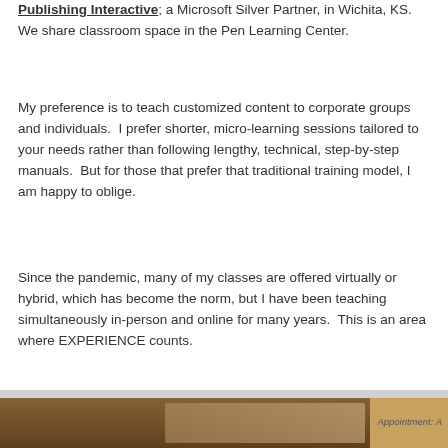Publishing Interactive, a Microsoft Silver Partner, in Wichita, KS.  We share classroom space in the Pen Learning Center.
My preference is to teach customized content to corporate groups and individuals.  I prefer shorter, micro-learning sessions tailored to your needs rather than following lengthy, technical, step-by-step manuals.  But for those that prefer that traditional training model, I am happy to oblige.
Since the pandemic, many of my classes are offered virtually or hybrid, which has become the norm, but I have been teaching simultaneously in-person and online for many years.  This is an area where EXPERIENCE counts.
[Figure (photo): Partial photo visible at bottom of page with an appointment-related label on the right side]